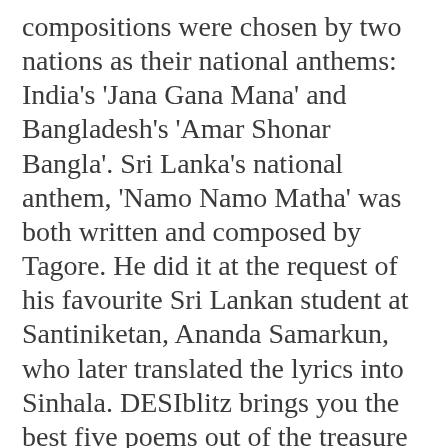compositions were chosen by two nations as their national anthems: India's 'Jana Gana Mana' and Bangladesh's 'Amar Shonar Bangla'. Sri Lanka's national anthem, 'Namo Namo Matha' was both written and composed by Tagore. He did it at the request of his favourite Sri Lankan student at Santiniketan, Ananda Samarkun, who later translated the lyrics into Sinhala. DESIblitz brings you the best five poems out of the treasure collection of literature of this unsurpassed literary genius.